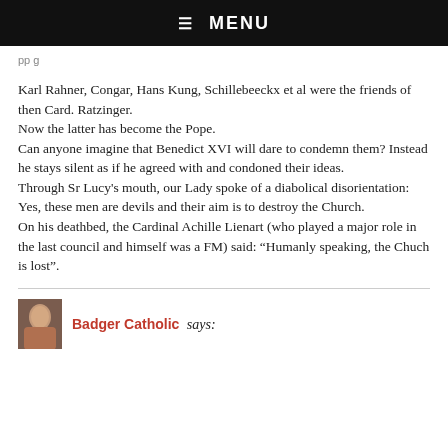☰ MENU
pp g
Karl Rahner, Congar, Hans Kung, Schillebeeckx et al were the friends of then Card. Ratzinger.
Now the latter has become the Pope.
Can anyone imagine that Benedict XVI will dare to condemn them? Instead he stays silent as if he agreed with and condoned their ideas.
Through Sr Lucy's mouth, our Lady spoke of a diabolical disorientation: Yes, these men are devils and their aim is to destroy the Church.
On his deathbed, the Cardinal Achille Lienart (who played a major role in the last council and himself was a FM) said: “Humanly speaking, the Chuch is lost”.
Badger Catholic says: